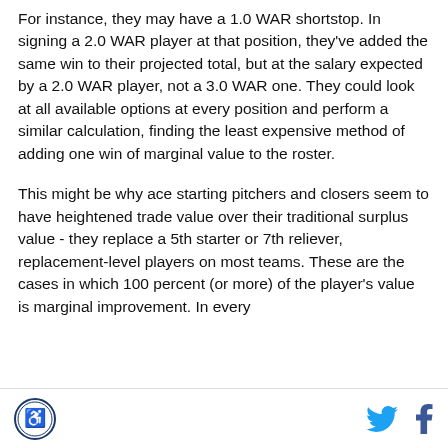For instance, they may have a 1.0 WAR shortstop. In signing a 2.0 WAR player at that position, they've added the same win to their projected total, but at the salary expected by a 2.0 WAR player, not a 3.0 WAR one. They could look at all available options at every position and perform a similar calculation, finding the least expensive method of adding one win of marginal value to the roster.
This might be why ace starting pitchers and closers seem to have heightened trade value over their traditional surplus value - they replace a 5th starter or 7th reliever, replacement-level players on most teams. These are the cases in which 100 percent (or more) of the player's value is marginal improvement. In every
[logo] [twitter] [facebook]